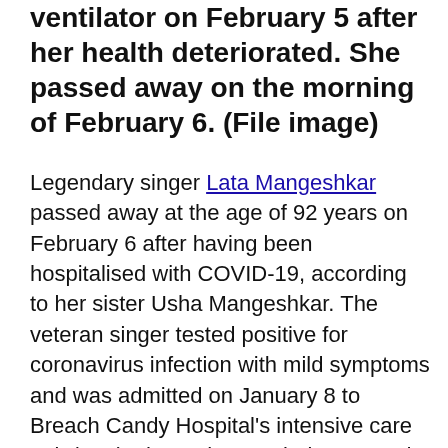ventilator on February 5 after her health deteriorated. She passed away on the morning of February 6. (File image)
Legendary singer Lata Mangeshkar passed away at the age of 92 years on February 6 after having been hospitalised with COVID-19, according to her sister Usha Mangeshkar. The veteran singer tested positive for coronavirus infection with mild symptoms and was admitted on January 8 to Breach Candy Hospital's intensive care unit (ICU) where she was being treated by Dr Pratit Samdani and his team of doctors. She remained in the ICU for more than two weeks, following signs of marginal